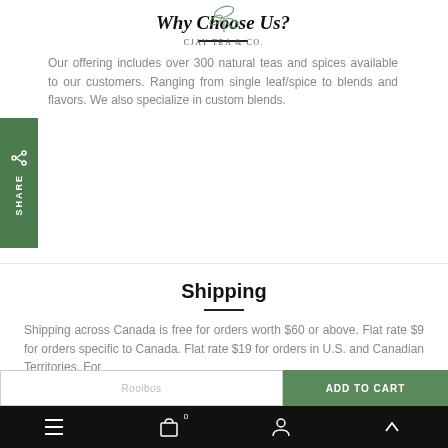CJAY TEA & CO.
Why Choose Us?
Our offering includes over 300 natural teas and spices available to our customers. Ranging from single leaf/spice to blends and flavors. We also specialize in custom blends.
Shipping
Shipping across Canada is free for orders worth $60 or above. Flat rate $9 for orders specific to Canada. Flat rate $19 for orders in U.S. and Canadian Territories. For
Rooibos | ADD TO CART